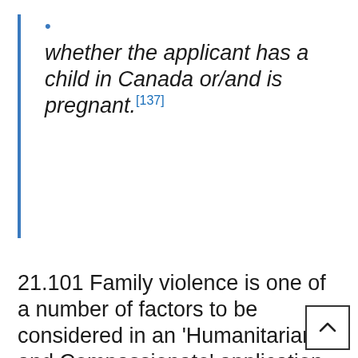whether the applicant has a child in Canada or/and is pregnant.[137]
21.101 Family violence is one of a number of factors to be considered in an 'Humanitarian and Compassionate' application, and the existence of family violence does not give an applicant automatic right to permanent residence. Factors that must be considered when determining 'hardship' include, but are not